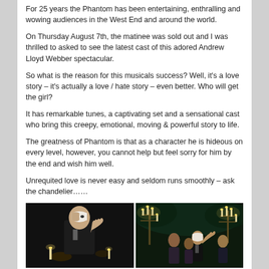For 25 years the Phantom has been entertaining, enthralling and wowing audiences in the West End and around the world.
On Thursday August 7th, the matinee was sold out and I was thrilled to asked to see the latest cast of this adored Andrew Lloyd Webber spectacular.
So what is the reason for this musicals success? Well, it's a love story – it's actually a love / hate story – even better. Who will get the girl?
It has remarkable tunes, a captivating set and a sensational cast who bring this creepy, emotional, moving & powerful story to life.
The greatness of Phantom is that as a character he is hideous on every level, however, you cannot help but feel sorry for him by the end and wish him well.
Unrequited love is never easy and seldom runs smoothly – ask the chandelier……
[Figure (photo): Two theatrical photos from Phantom of the Opera: left shows the Phantom in a mask, right shows a scene with candelabras and cast members on stage.]